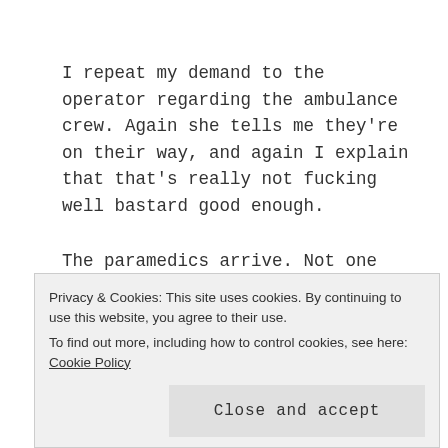I repeat my demand to the operator regarding the ambulance crew. Again she tells me they're on their way, and again I explain that that's really not fucking well bastard good enough.
The paramedics arrive. Not one but two ambulances. Bargain. It has taken precisely twenty-three minutes. I step aside and let the professionals do their stuff. "Medical history?" they ask as they lift him onto the
Privacy & Cookies: This site uses cookies. By continuing to use this website, you agree to their use. To find out more, including how to control cookies, see here: Cookie Policy
Close and accept